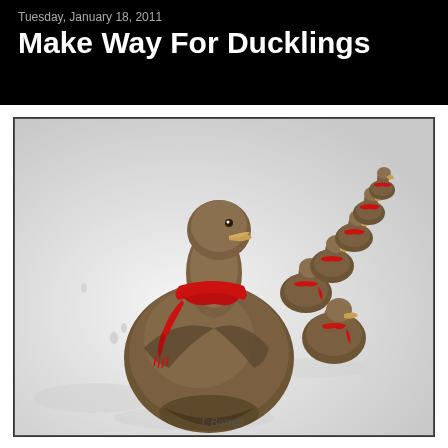Tuesday, January 18, 2011
Make Way For Ducklings
[Figure (photo): Bronze duck statues (Make Way for Ducklings sculpture) in snow, wearing red scarves/ribbons, arranged in a curving line receding into the background. The mother duck is in the foreground facing away, with ducklings following behind. Photo watermark reads 'J. Barrett'.]